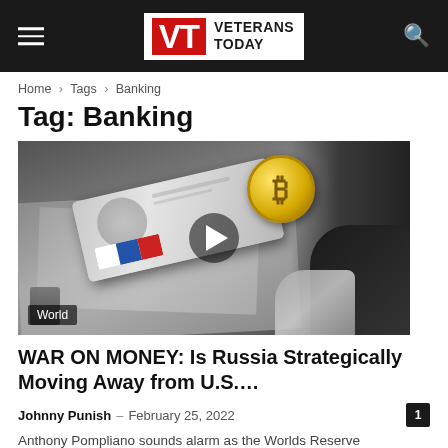Veterans Today
Home › Tags › Banking
Tag: Banking
[Figure (photo): Black and white photo of hands holding a US hundred dollar bill with a Russian flag stripe and a Bitcoin gold coin on it. A play button overlay is in the center. A 'World' badge appears in the lower left corner.]
WAR ON MONEY: Is Russia Strategically Moving Away from U.S....
Johnny Punish – February 25, 2022
Anthony Pompliano sounds alarm as the Worlds Reserve Currency...